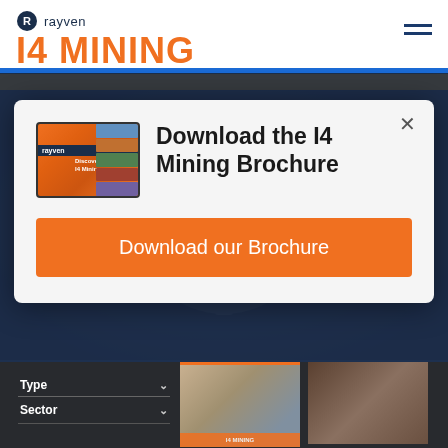rayven
I4 MINING
[Figure (screenshot): Screenshot of I4 Mining website with a modal popup dialog showing 'Download the I4 Mining Brochure' with an orange brochure thumbnail image and a large orange 'Download our Brochure' button. Behind the modal are website UI elements including a filter bar with Type and Sector dropdowns and two thumbnail images of mining infrastructure.]
Download the I4 Mining Brochure
Download our Brochure